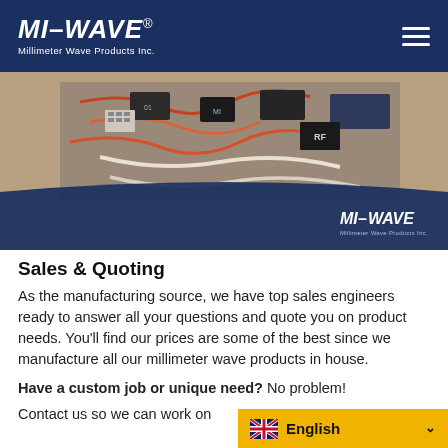MI-WAVE® Millimeter Wave Products Inc.
[Figure (photo): Close-up photo of millimeter wave electronic hardware/equipment with wiring, connectors, and MI-WAVE branded components on a dark overlay background with MI-WAVE logo at bottom right.]
Sales & Quoting
As the manufacturing source, we have top sales engineers ready to answer all your questions and quote you on product needs. You'll find our prices are some of the best since we manufacture all our millimeter wave products in house.
Have a custom job or unique need? No problem!
Contact us so we can work on